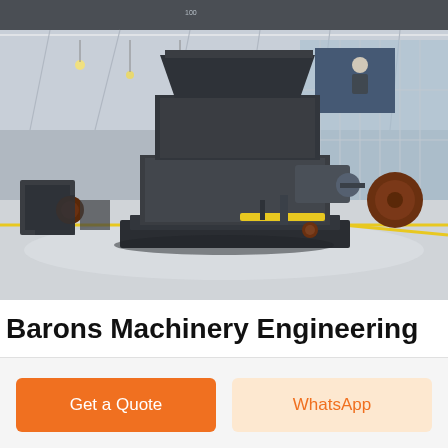[Figure (photo): Industrial machinery (large crusher/industrial machine) displayed inside a large warehouse/factory hall with white roof structure, glass walls, and several other machines visible in the background. A banner with a person working is visible on the far wall.]
Barons Machinery Engineering
Get a Quote
WhatsApp